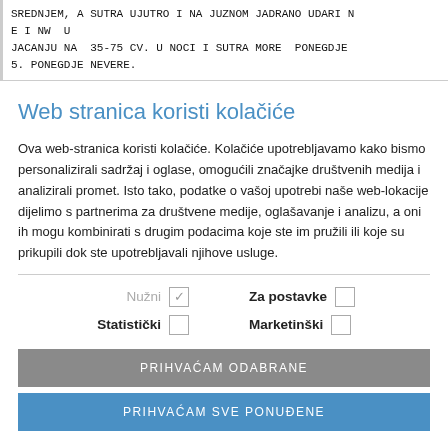SREDNJEM, A SUTRA UJUTRO I NA JUZNOM JADRANO UDARI N
E I NW  U
JACANJU NA  35-75 CV. U NOCI I SUTRA MORE  PONEGDJE
5. PONEGDJE NEVERE.
Web stranica koristi kolačiće
Ova web-stranica koristi kolačiće. Kolačiće upotrebljavamo kako bismo personalizirali sadržaj i oglase, omogućili značajke društvenih medija i analizirali promet. Isto tako, podatke o vašoj upotrebi naše web-lokacije dijelimo s partnerima za društvene medije, oglašavanje i analizu, a oni ih mogu kombinirati s drugim podacima koje ste im pružili ili koje su prikupili dok ste upotrebljavali njihove usluge.
Nužni ✓
Za postavke □
Statistički □
Marketinški □
PRIHVAĆAM ODABRANE
PRIHVAĆAM SVE PONUĐENE